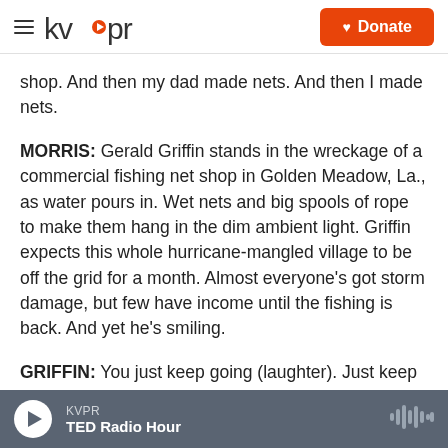kvpr | Donate
shop. And then my dad made nets. And then I made nets.
MORRIS: Gerald Griffin stands in the wreckage of a commercial fishing net shop in Golden Meadow, La., as water pours in. Wet nets and big spools of rope to make them hang in the dim ambient light. Griffin expects this whole hurricane-mangled village to be off the grid for a month. Almost everyone's got storm damage, but few have income until the fishing is back. And yet he's smiling.
GRIFFIN: You just keep going (laughter). Just keep
KVPR | TED Radio Hour